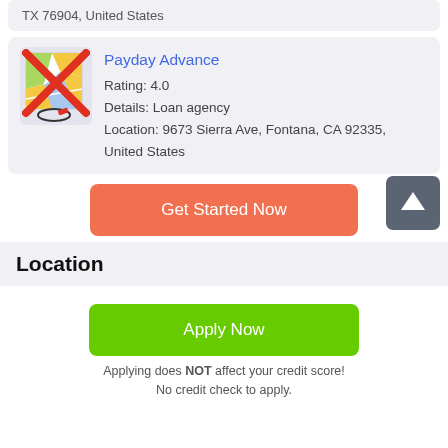TX 76904, United States
Payday Advance
Rating: 4.0
Details: Loan agency
Location: 9673 Sierra Ave, Fontana, CA 92335, United States
Get Started Now
Location
Apply Now
Applying does NOT affect your credit score!
No credit check to apply.